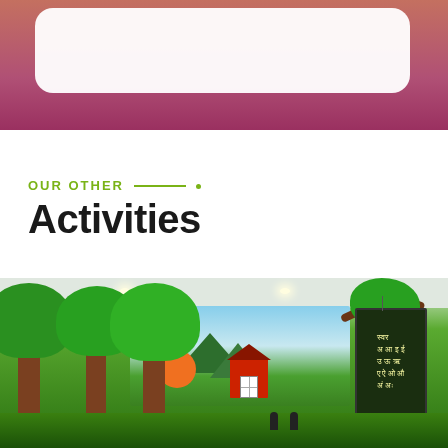[Figure (photo): Top portion of a photo showing a child in a magenta/pink outfit with a white rounded-rectangle overlay box on top]
OUR OTHER
Activities
[Figure (photo): Indoor classroom/play area decorated with large 3D green trees with brown trunks, a colorful farm mural on the wall (with red barn, mountains, blue sky), an orange circular decoration, and a blackboard hanging on the rightmost tree with Hindi/Devanagari text listing vowels]